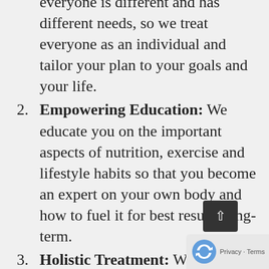everyone is different and has different needs, so we treat everyone as an individual and tailor your plan to your goals and your life.
2. Empowering Education: We educate you on the important aspects of nutrition, exercise and lifestyle habits so that you become an expert on your own body and how to fuel it for best results long-term.
3. Holistic Treatment: We treat you holistically and will investigate if you have any conditions which may be impeding weight loss (or gain) such as thyroid dysfunction, hormone imbalances, intestinal dysbiosis (overgrowth of bacterial species linked to obesity), insulin resistance (or blood sugar imbalances), nutritional deficiencies and even genetic variations that affect fat